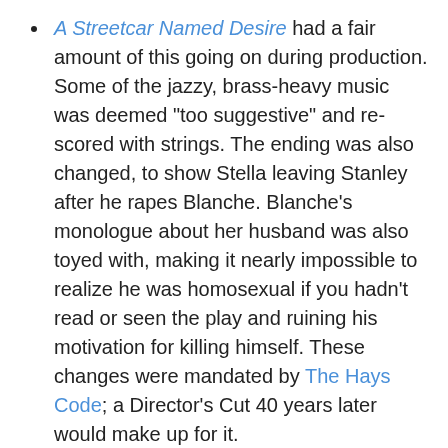A Streetcar Named Desire had a fair amount of this going on during production. Some of the jazzy, brass-heavy music was deemed "too suggestive" and re-scored with strings. The ending was also changed, to show Stella leaving Stanley after he rapes Blanche. Blanche's monologue about her husband was also toyed with, making it nearly impossible to realize he was homosexual if you hadn't read or seen the play and ruining his motivation for killing himself. These changes were mandated by The Hays Code; a Director's Cut 40 years later would make up for it.
The Super Mario Bros. movie was originally a Disney production. Disney wanted a more fantasy-based production, but they were in a hole early when they were forced to fire director Greg Beeman after spending $10 million in just six months. They scrambled for nearly a year before finally hiring Rocky Morton and Annabel Jankel (of Max Headroom fame) — the only directors